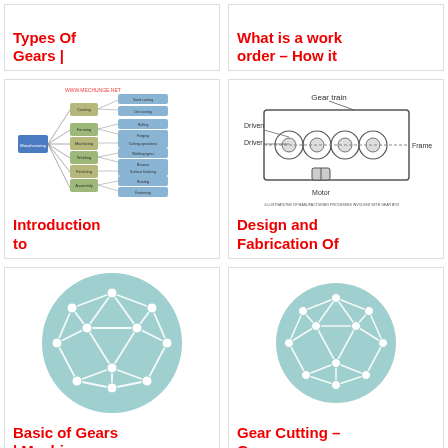Types Of Gears |
What is a work order – How it
[Figure (flowchart): Manufacturing process flowchart/mind map from www.mechunge.net showing various manufacturing processes and sub-processes in a hierarchical tree structure]
[Figure (engineering-diagram): Gear train schematic diagram showing Gear train, Driven, Driver, Frame, and Motor components with gear arrangement]
Introduction to
Design and Fabrication Of
[Figure (illustration): Circular network/mesh icon with white interconnected nodes and lines on a light teal/blue circle background]
[Figure (illustration): Circular network/mesh icon with white interconnected nodes and lines on a light teal/blue circle background (smaller)]
Basic of Gears | Machine
Gear Cutting – Gear